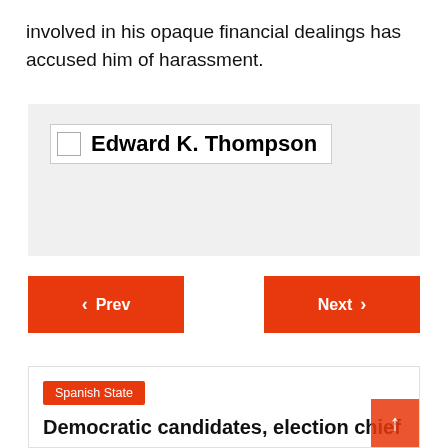involved in his opaque financial dealings has accused him of harassment.
[Figure (other): Signature box with checkbox and bold name 'Edward K. Thompson' inside a light grey panel]
< Prev    Next >
Spanish State
Democratic candidates, election chief